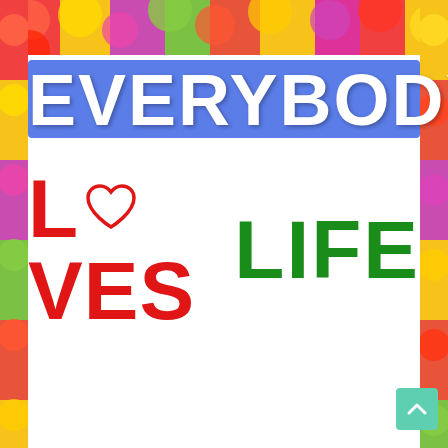[Figure (illustration): Colorful flower background (tulips in red, yellow, pink, green, orange) visible as strips on the left, right, and top edges of the page]
EVERYBODY LOVES LIFE